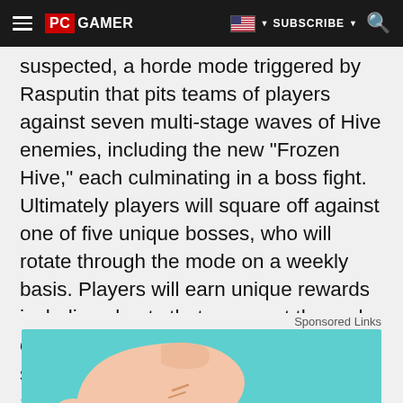PC GAMER | SUBSCRIBE
suspected, a horde mode triggered by Rasputin that pits teams of players against seven multi-stage waves of Hive enemies, including the new "Frozen Hive," each culminating in a boss fight. Ultimately players will square off against one of five unique bosses, who will rotate through the mode on a weekly basis. Players will earn unique rewards including chests that spawn at the end of waves 3, 5, and 7 that can contain special vanity rewards, and also take advantage of event-specific weapons with their own unique perks.
Sponsored Links
[Figure (illustration): Cartoon illustration of a pointing finger (index finger) on a teal/cyan background, cropped at the bottom of the page]